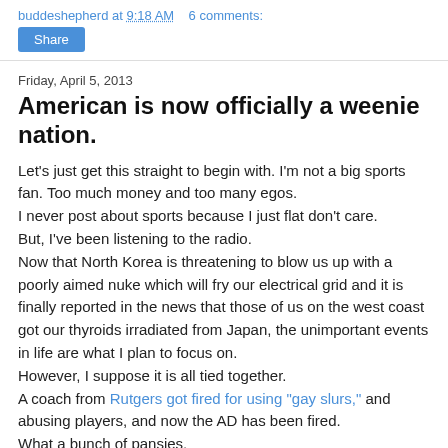buddeshepherd at 9:18 AM   6 comments:
Share
Friday, April 5, 2013
American is now officially a weenie nation.
Let's just get this straight to begin with. I'm not a big sports fan. Too much money and too many egos.
I never post about sports because I just flat don't care.
But, I've been listening to the radio.
Now that North Korea is threatening to blow us up with a poorly aimed nuke which will fry our electrical grid and it is finally reported in the news that those of us on the west coast got our thyroids irradiated from Japan, the unimportant events in life are what I plan to focus on.
However, I suppose it is all tied together.
A coach from Rutgers got fired for using "gay slurs," and abusing players, and now the AD has been fired.
What a bunch of pansies.